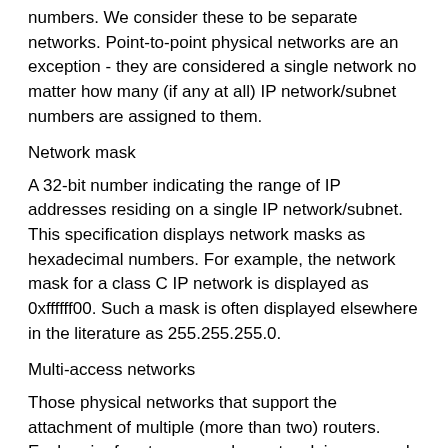numbers. We consider these to be separate networks. Point-to-point physical networks are an exception - they are considered a single network no matter how many (if any at all) IP network/subnet numbers are assigned to them.
Network mask
A 32-bit number indicating the range of IP addresses residing on a single IP network/subnet. This specification displays network masks as hexadecimal numbers. For example, the network mask for a class C IP network is displayed as 0xffffff00. Such a mask is often displayed elsewhere in the literature as 255.255.255.0.
Multi-access networks
Those physical networks that support the attachment of multiple (more than two) routers. Each pair of routers on such a network is assumed to be able to communicate directly (e.g., multi-drop networks are excluded).
Interface